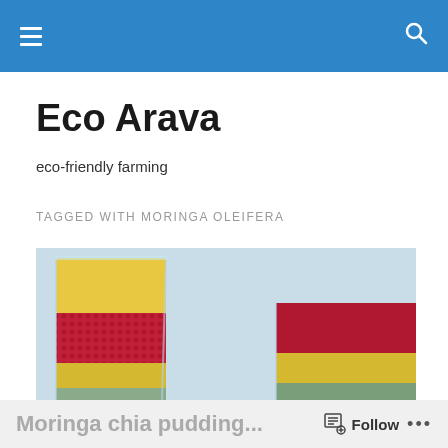Eco Arava — site header navigation bar
Eco Arava
eco-friendly farming
TAGGED WITH MORINGA OLEIFERA
[Figure (photo): Two glass cups with layered colorful pudding — yellow, red/berry, and green/white chia seed layers — on a light blue background.]
Moringa chia pudding… Follow …